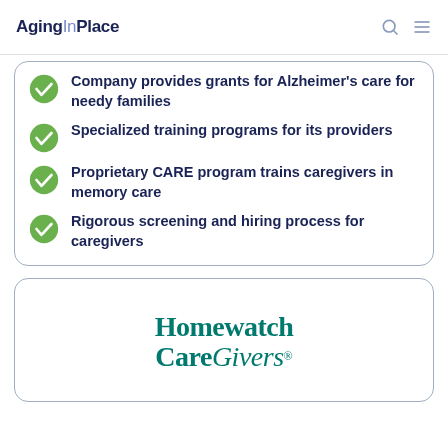AgingInPlace
Company provides grants for Alzheimer's care for needy families
Specialized training programs for its providers
Proprietary CARE program trains caregivers in memory care
Rigorous screening and hiring process for caregivers
[Figure (logo): Homewatch CareGivers logo in teal/dark green color]